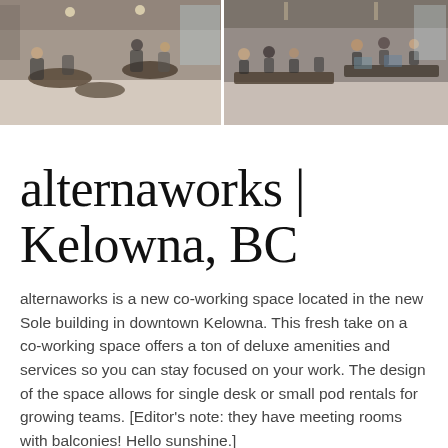[Figure (photo): Two side-by-side photos of a coworking space interior showing tables, chairs, and people working in a modern cafe-style setting]
alternaworks | Kelowna, BC
alternaworks is a new co-working space located in the new Sole building in downtown Kelowna. This fresh take on a co-working space offers a ton of deluxe amenities and services so you can stay focused on your work. The design of the space allows for single desk or small pod rentals for growing teams. [Editor's note: they have meeting rooms with balconies! Hello sunshine.]
Check out alternaworks >>
Explore rental options>>